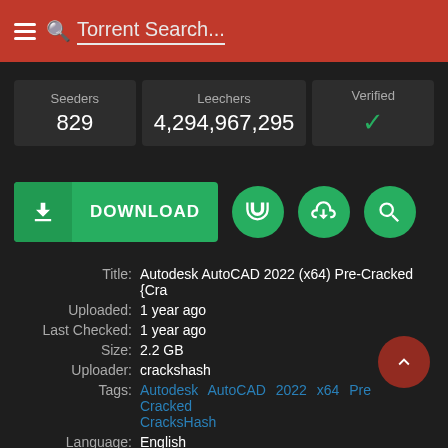Torrent Search...
| Seeders | Leechers | Verified |
| --- | --- | --- |
| 829 | 4,294,967,295 | ✓ |
[Figure (infographic): DOWNLOAD button with magnet, cloud download, and search circle icon buttons]
Title: Autodesk AutoCAD 2022 (x64) Pre-Cracked {Cra
Uploaded: 1 year ago
Last Checked: 1 year ago
Size: 2.2 GB
Uploader: crackshash
Tags: Autodesk AutoCAD 2022 x64 Pre Cracked CracksHash
Language: English
Type: Windows